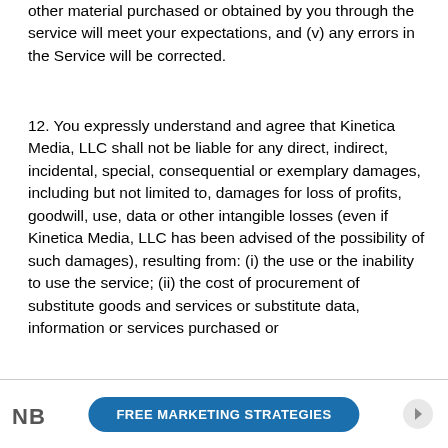other material purchased or obtained by you through the service will meet your expectations, and (v) any errors in the Service will be corrected.
12. You expressly understand and agree that Kinetica Media, LLC shall not be liable for any direct, indirect, incidental, special, consequential or exemplary damages, including but not limited to, damages for loss of profits, goodwill, use, data or other intangible losses (even if Kinetica Media, LLC has been advised of the possibility of such damages), resulting from: (i) the use or the inability to use the service; (ii) the cost of procurement of substitute goods and services or substitute data, information or services purchased or
NB  FREE MARKETING STRATEGIES